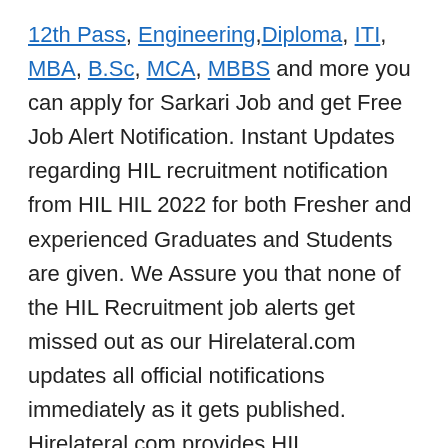12th Pass, Engineering, Diploma, ITI, MBA, B.Sc, MCA, MBBS and more you can apply for Sarkari Job and get Free Job Alert Notification. Instant Updates regarding HIL recruitment notification from HIL HIL 2022 for both Fresher and experienced Graduates and Students are given. We Assure you that none of the HIL Recruitment job alerts get missed out as our Hirelateral.com updates all official notifications immediately as it gets published. Hirelateral.com provides HIL Recruitment job alerts for free of cost to all its subscribers and other government job seekers so you can apply for your desired jobs and get placed in your dream companies.